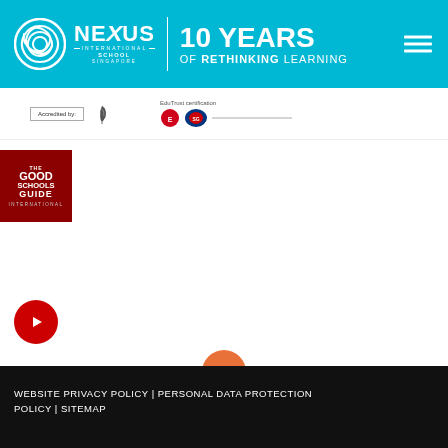[Figure (logo): Nexus International School Singapore header with spiral logo and '10 YEARS OF RETHINKING LEARNING' text on cyan/blue background with hamburger menu icon]
[Figure (logo): Accreditation strip showing 'Accredited by:' box, feather icon, EduTrust certification logos]
[Figure (logo): The Good Schools Guide International red logo]
[Figure (logo): YouTube red circle icon]
[Figure (other): Orange circular back-to-top button with chevron up arrow]
WEBSITE PRIVACY POLICY | PERSONAL DATA PROTECTION POLICY | SITEMAP